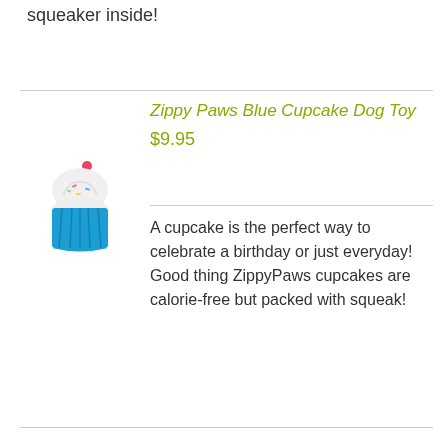squeaker inside!
[Figure (illustration): Zippy Paws Blue Cupcake dog toy - a small plush toy shaped like a cupcake with blue base, white frosting, and pink cherry on top]
Zippy Paws Blue Cupcake Dog Toy
$9.95
A cupcake is the perfect way to celebrate a birthday or just everyday! Good thing ZippyPaws cupcakes are calorie-free but packed with squeak!